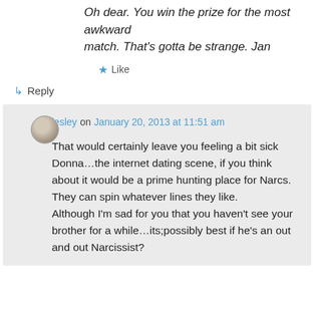Oh dear. You win the prize for the most awkward match. That's gotta be strange. Jan
★ Like
↳ Reply
lesley on January 20, 2013 at 11:51 am
That would certainly leave you feeling a bit sick Donna…the internet dating scene, if you think about it would be a prime hunting place for Narcs. They can spin whatever lines they like. Although I'm sad for you that you haven't see your brother for a while…its;possibly best if he's an out and out Narcissist?